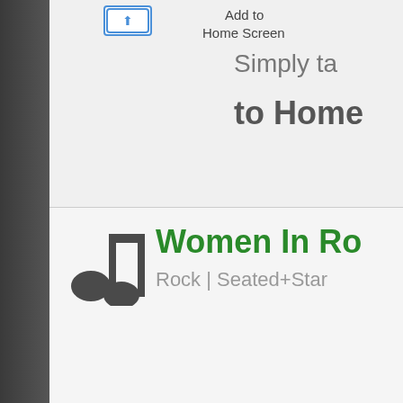[Figure (screenshot): Mobile browser UI showing 'Add to Home Screen' dialog with share icon, text 'Add to Home Screen', and partially visible instruction text 'Simply ta... to Home']
Women In Ro
Rock | Seated+Star
[Figure (photo): Concert photo with purple and blue stage lighting, crowd with raised hands, partial venue signage visible bottom right]